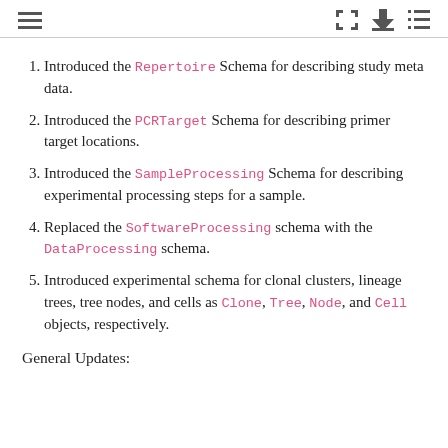≡  [fullscreen] [download] [list]
Introduced the Repertoire Schema for describing study meta data.
Introduced the PCRTarget Schema for describing primer target locations.
Introduced the SampleProcessing Schema for describing experimental processing steps for a sample.
Replaced the SoftwareProcessing schema with the DataProcessing schema.
Introduced experimental schema for clonal clusters, lineage trees, tree nodes, and cells as Clone, Tree, Node, and Cell objects, respectively.
General Updates: